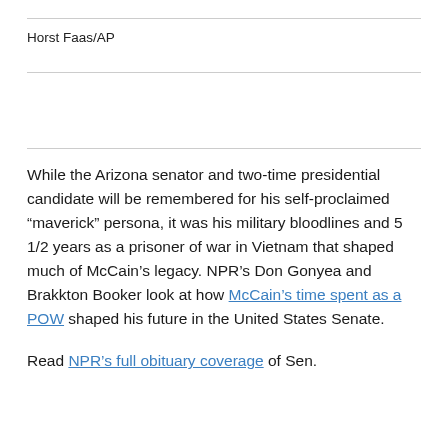Horst Faas/AP
While the Arizona senator and two-time presidential candidate will be remembered for his self-proclaimed “maverick” persona, it was his military bloodlines and 5 1/2 years as a prisoner of war in Vietnam that shaped much of McCain’s legacy. NPR’s Don Gonyea and Brakkton Booker look at how McCain’s time spent as a POW shaped his future in the United States Senate.
Read NPR’s full obituary coverage of Sen.